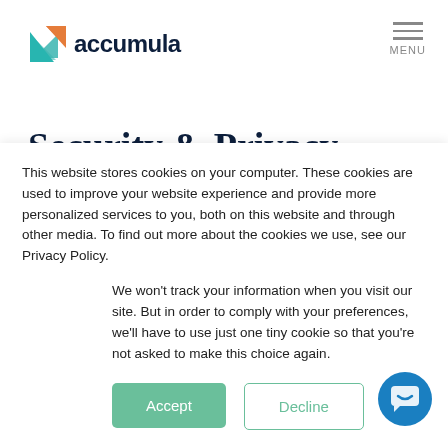[Figure (logo): Accumula logo: a triangular icon in teal and orange next to the wordmark 'accumula' in dark navy bold sans-serif]
[Figure (other): Hamburger menu icon with three horizontal lines and the word MENU below]
Security & Privacy
All data stored in Accumula is safe and
This website stores cookies on your computer. These cookies are used to improve your website experience and provide more personalized services to you, both on this website and through other media. To find out more about the cookies we use, see our Privacy Policy.
We won't track your information when you visit our site. But in order to comply with your preferences, we'll have to use just one tiny cookie so that you're not asked to make this choice again.
Accept
Decline
[Figure (other): Dark blue circular chat support button with a white speech bubble / smile icon]